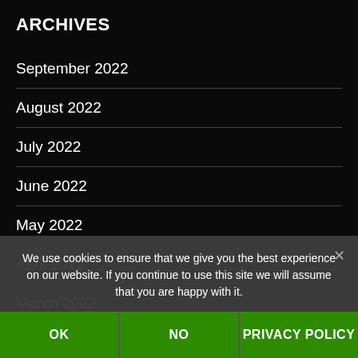ARCHIVES
September 2022
August 2022
July 2022
June 2022
May 2022
April 2022
March 2022
February 2022
January 2022
December 2021
Novem...
We use cookies to ensure that we give you the best experience on our website. If you continue to use this site we will assume that you are happy with it.
OK | NO | PRIVACY POLICY